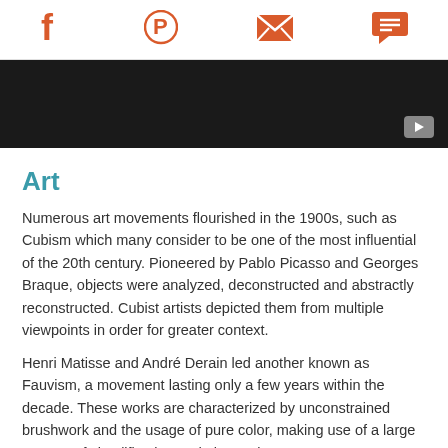Social share icons: Facebook, Pinterest, Email, Chat
[Figure (screenshot): Black video player bar with a play button in the bottom-right corner]
Art
Numerous art movements flourished in the 1900s, such as Cubism which many consider to be one of the most influential of the 20th century. Pioneered by Pablo Picasso and Georges Braque, objects were analyzed, deconstructed and abstractly reconstructed. Cubist artists depicted them from multiple viewpoints in order for greater context.
Henri Matisse and André Derain led another known as Fauvism, a movement lasting only a few years within the decade. These works are characterized by unconstrained brushwork and the usage of pure color, making use of a large amount of simplification and abstraction.
Though it started in the decade prior, Expressionism grew in